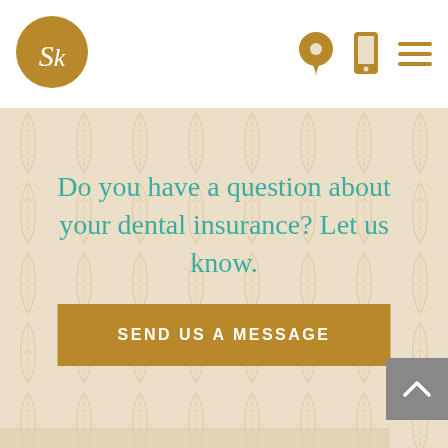[Figure (logo): SK dental practice logo — circular gold badge with stylized SK initials in white italic serif font]
[Figure (illustration): Navigation header icons: map pin / location icon, mobile phone icon, and hamburger menu icon, all in gold/brown color]
Do you have a question about your dental insurance? Let us know.
SEND US A MESSAGE